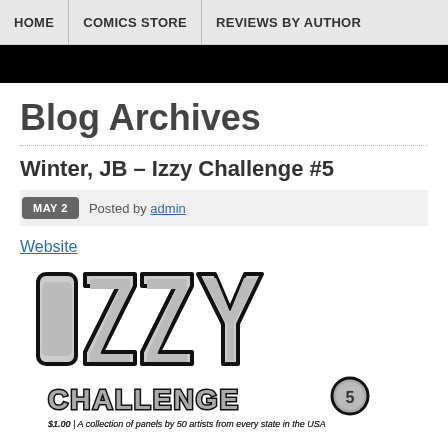HOME | COMICS STORE | REVIEWS BY AUTHOR
Blog Archives
Winter, JB – Izzy Challenge #5
MAY 2  Posted by admin
Website
[Figure (illustration): Izzy Challenge #5 comic cover logo. Bold graffiti-style lettering reading 'IZZY CHALLENGE 5' with a circle-5 trademark symbol. Subtitle: '$1.00 | A collection of panels by 50 artists from every state in the USA']